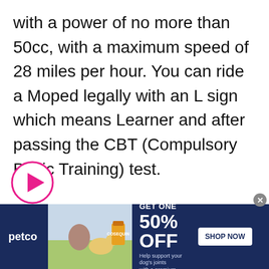with a power of no more than 50cc, with a maximum speed of 28 miles per hour. You can ride a Moped legally with an L sign which means Learner and after passing the CBT (Compulsory Basic Training) test.

A Moped is lighter in weight, small in size, and are used for simple purposes. Due to their low speed, low power, and small size, they can't do any heavy work. Originally,
[Figure (other): Circular play button overlay (pink/magenta border, dark play triangle) overlaid on the article text]
[Figure (other): Petco advertisement banner: BUY ONE, GET ONE 50% OFF with photo of woman with dog and supplement product. SHOP NOW button.]